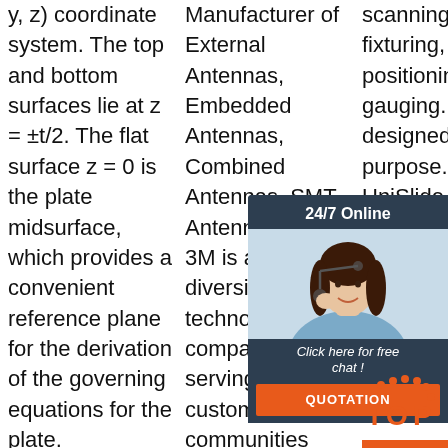y, z) coordinate system. The top and bottom surfaces lie at z = ±t/2. The flat surface z = 0 is the plate midsurface, which provides a convenient reference plane for the derivation of the governing equations for the plate.
Manufacturer of External Antennas, Embedded Antennas, Combined Antennas, SMT Antennas. 3M. 3M is a diversified technology company serving customers and communities with innovative products and
scanning, fixturing, positioning and gauging. Tables designed for the purpose. UniSlide and Stages are base-mounted, available in manual and motorized configurations. tab=0.
[Figure (other): Customer service chat widget overlay showing '24/7 Online' header, photo of a woman with headset, 'Click here for free chat!' text, and an orange QUOTATION button. Also shows an orange TOP button with dots.]